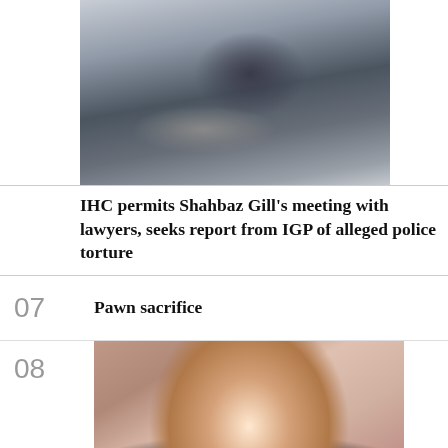[Figure (photo): A person lying on a hospital bed or stretcher, with another person leaning over them holding a railing. A pipe/railing is visible horizontally across the image.]
IHC permits Shahbaz Gill's meeting with lawyers, seeks report from IGP of alleged police torture
07   Pawn sacrifice
[Figure (photo): A man in a black sherwani/kurta speaking at a podium with microphones in front of him, with a pink/maroon decorative backdrop behind him.]